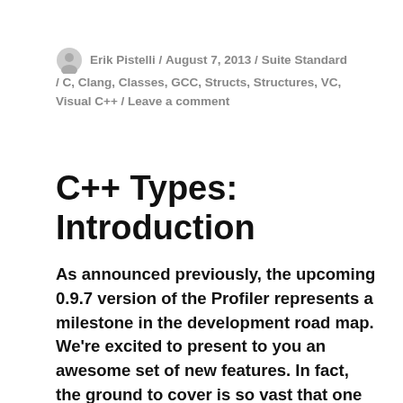Erik Pistelli / August 7, 2013 / Suite Standard / C, Clang, Classes, GCC, Structs, Structures, VC, Visual C++ / Leave a comment
C++ Types: Introduction
As announced previously, the upcoming 0.9.7 version of the Profiler represents a milestone in the development road map. We're excited to present to you an awesome set of new features. In fact, the ground to cover is so vast that one post is not nearly enough. Throughout this week I'll write some posts to cover the basics and this will allow for enough